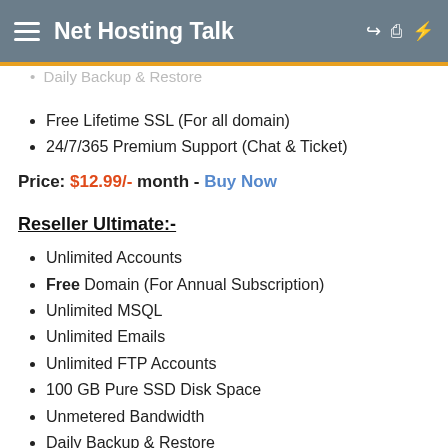Net Hosting Talk
Daily Backup & Restore (faded/partial)
Free Lifetime SSL (For all domain)
24/7/365 Premium Support (Chat & Ticket)
Price: $12.99/- month - Buy Now
Reseller Ultimate:-
Unlimited Accounts
Free Domain (For Annual Subscription)
Unlimited MSQL
Unlimited Emails
Unlimited FTP Accounts
100 GB Pure SSD Disk Space
Unmetered Bandwidth
Daily Backup & Restore
Free Lifetime SSL (For all domain)
24/7/365 Premium Support (Chat & Ticket)